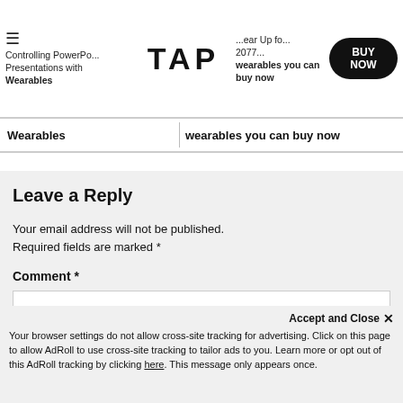Controlling PowerPoint Presentations with Wearables | TAP | Gear Up for 2077 wearables you can buy now
Leave a Reply
Your email address will not be published. Required fields are marked *
Comment *
Your browser settings do not allow cross-site tracking for advertising. Click on this page to allow AdRoll to use cross-site tracking to tailor ads to you. Learn more or opt out of this AdRoll tracking by clicking here. This message only appears once.